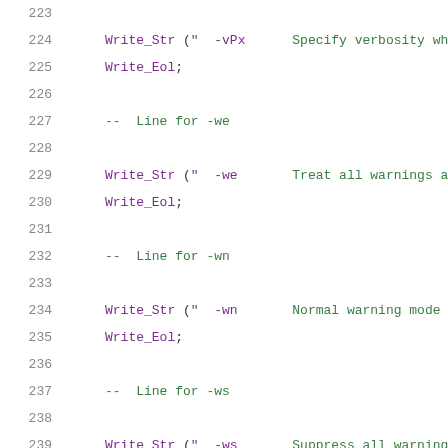223  (empty line)
224      Write_Str ("  -vPx      Specify verbosity whe
225      Write_Eol;
226  (empty line)
227      --  Line for -we
228  (empty line)
229      Write_Str ("  -we       Treat all warnings as
230      Write_Eol;
231  (empty line)
232      --  Line for -wn
233  (empty line)
234      Write_Str ("  -wn       Normal warning mode (
235      Write_Eol;
236  (empty line)
237      --  Line for -ws
238  (empty line)
239      Write_Str ("  -ws       Suppress all warnings
240      Write_Eol;
241  (empty line)
242      --  Line for -x
243  (empty line)
244      Write_Str ("  -x        " &